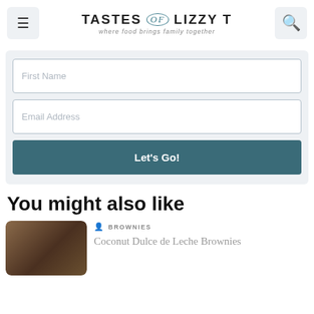TASTES of LIZZY T — where food brings family together
First Name
Email Address
Let's Go!
You might also like
[Figure (photo): Thumbnail image of Coconut Dulce de Leche Brownies]
BROWNIES
Coconut Dulce de Leche Brownies